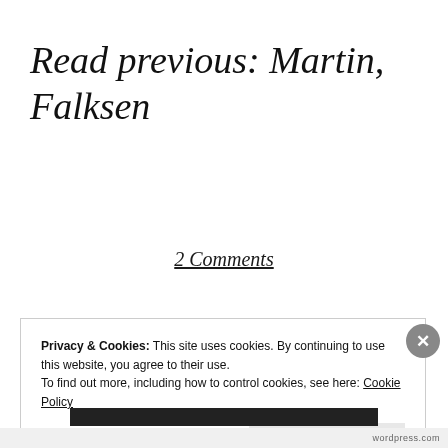Read previous: Martin, Falksen
2 Comments
Privacy & Cookies: This site uses cookies. By continuing to use this website, you agree to their use.
To find out more, including how to control cookies, see here: Cookie Policy
Close and accept
wordpress.com